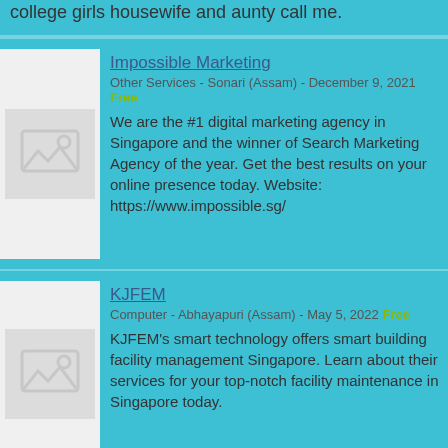college girls housewife and aunty call me.
Impossible Marketing
Other Services - Sonari (Assam) - December 9, 2021 Free
We are the #1 digital marketing agency in Singapore and the winner of Search Marketing Agency of the year. Get the best results on your online presence today. Website: https://www.impossible.sg/
KJFEM
Computer - Abhayapuri (Assam) - May 5, 2022 Free
KJFEM's smart technology offers smart building facility management Singapore. Learn about their services for your top-notch facility maintenance in Singapore today.
Physics Tuition
Tutoring - Private Lessons - Abhayapuri (Assam) - March 23, 2022 Free